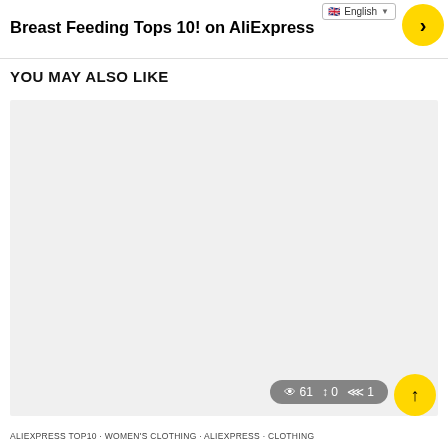Breast Feeding Tops 10! on AliExpress
YOU MAY ALSO LIKE
[Figure (other): Large light grey placeholder content area below 'YOU MAY ALSO LIKE' section]
ALIEXPRESS TOP10 · WOMEN'S CLOTHING · ALIEXPRESS · CLOTHING